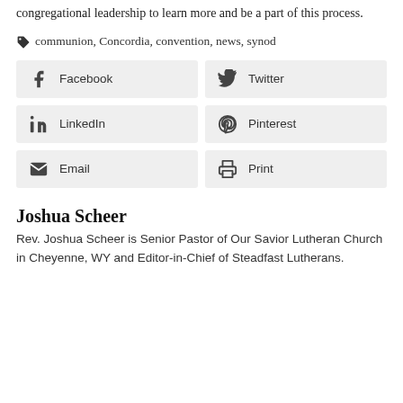congregational leadership to learn more and be a part of this process.
communion, Concordia, convention, news, synod
[Figure (other): Share buttons grid: Facebook, Twitter, LinkedIn, Pinterest, Email, Print]
Joshua Scheer
Rev. Joshua Scheer is Senior Pastor of Our Savior Lutheran Church in Cheyenne, WY and Editor-in-Chief of Steadfast Lutherans.